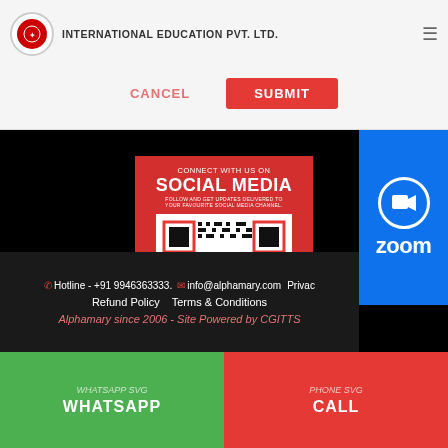[Figure (logo): Company logo circle with red background and INTERNATIONAL EDUCATION PVT. LTD. text]
CANCEL
SUBMIT
[Figure (infographic): Red card with QR code and social media icons. Text: CONNECT WITH US ON SOCIAL MEDIA. FOLLOW AND GET UPDATES DELIVERED TO YOUR FAVOURITE SOCIAL MEDIA CHANNEL. SCAN ME!]
[Figure (logo): Zoom logo widget in blue with camera icon and LIVE badge]
Hotline - +91 9946363333.  info@alphamary.com  Privacy  Refund Policy  Terms & Conditions
Alphamary since 2006 - Site Powered by CGITTS
WHATSAPP SVG  WHATSAPP
PHONE SVG  CALL